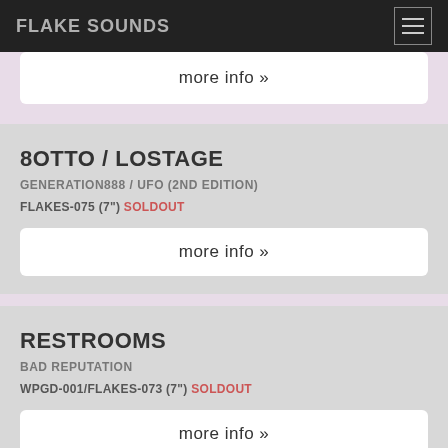FLAKE SOUNDS
more info »
8OTTO / LOSTAGE
GENERATION888 / UFO (2ND EDITION)
FLAKES-075 (7") SOLDOUT
more info »
RESTROOMS
BAD REPUTATION
WPGD-001/FLAKES-073 (7") SOLDOUT
more info »